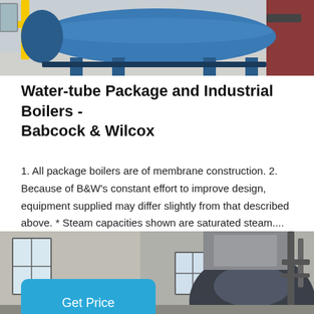[Figure (photo): Industrial boiler equipment in a facility — a large blue cylindrical boiler on a platform with yellow frame supports and a red wall in background.]
Water-tube Package and Industrial Boilers - Babcock & Wilcox
1. All package boilers are of membrane construction. 2. Because of B&W's constant effort to improve design, equipment supplied may differ slightly from that described above. * Steam capacities shown are saturated steam....
[Figure (photo): Interior of an industrial facility showing large industrial boiler or heating equipment with piping and ductwork, visible windows in background.]